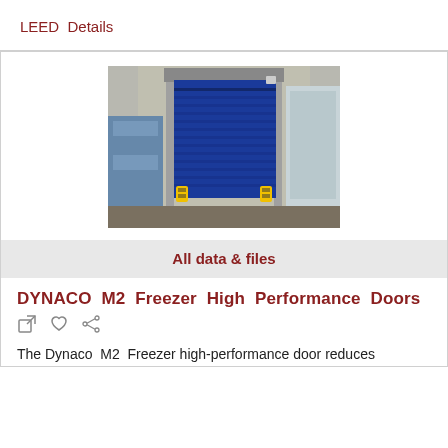LEED  Details
[Figure (photo): Photo of a blue DYNACO M2 Freezer high-performance roll-up door installed in a warehouse/cold storage facility, with insulation panels visible on the right and palletized goods on the left. Yellow safety bollards are at the base of the door.]
All data & files
DYNACO M2 Freezer High Performance Doors
The Dynaco M2 Freezer high-performance door reduces